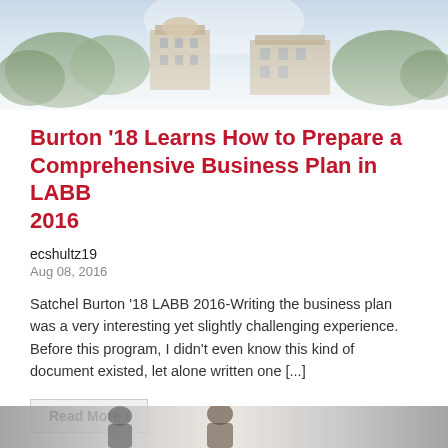[Figure (photo): Aerial or campus photo of a university building with trees, faded/muted tones]
Burton '18 Learns How to Prepare a Comprehensive Business Plan in LABB 2016
ecshultz19
Aug 08, 2016
Satchel Burton '18 LABB 2016-Writing the business plan was a very interesting yet slightly challenging experience. Before this program, I didn't even know this kind of document existed, let alone written one [...]
Read More ›
Tags: Lilly Endowment | Posted in 2016 Summer Internships, CIBE Internship Program
[Figure (photo): Partial photo at the bottom of the page showing people, partially cropped]